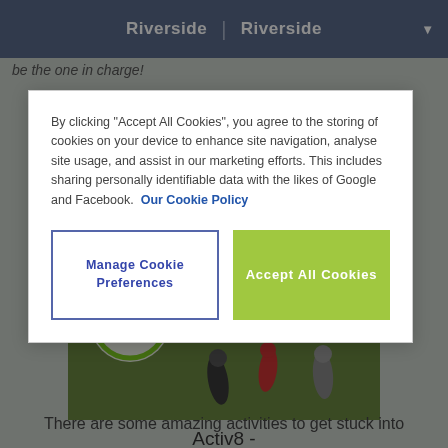Riverside | Riverside
be the one in charge!
[Figure (screenshot): Children running on a grass field with an Activ8 logo overlay in the top left corner]
Activ8 -
There are some amazing activities to get stuck into
By clicking "Accept All Cookies", you agree to the storing of cookies on your device to enhance site navigation, analyse site usage, and assist in our marketing efforts. This includes sharing personally identifiable data with the likes of Google and Facebook.  Our Cookie Policy
Manage Cookie Preferences
Accept All Cookies